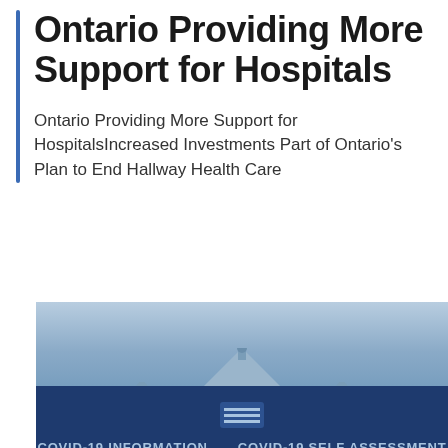Ontario Providing More Support for Hospitals
Ontario Providing More Support for HospitalsIncreased Investments Part of Ontario's Plan to End Hallway Health Care
[Figure (photo): Photo of Ontario Legislature building rooftop with dome-like turrets against a blue sky, with a dark blue navigation bar at the bottom showing COVID-19 information links]
COVID-19 INFORMATION   COVID-19 SELF ASSESSMENT